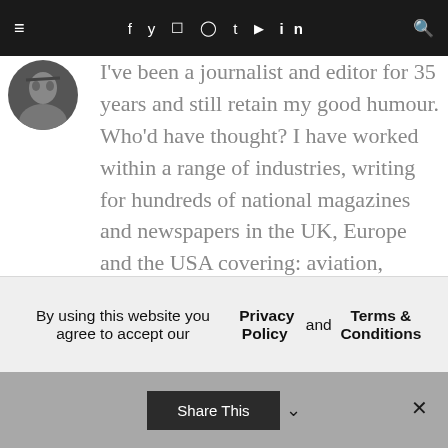≡  f y ☁ ⊕ t ▶ in  🔍
[Figure (photo): Circular avatar/profile photo of a person]
I've been a journalist and editor for 35 years and still retain my good humour. Who'd have thought? I have worked within a range of industries, writing for hundreds of national magazines and newspapers in the UK, Europe and the USA covering: aviation, music, computer technology, computer gaming, hi-fi, mobile technology, home
By using this website you agree to accept our Privacy Policy and Terms & Conditions
Share This  ∨  ✕